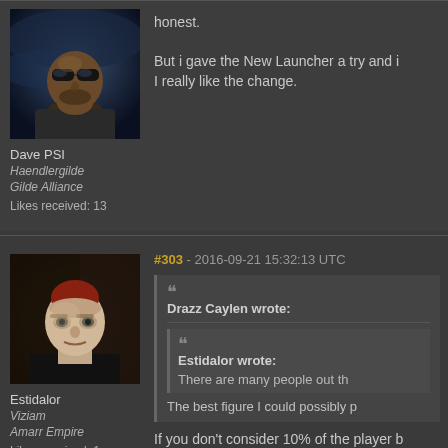[Figure (illustration): Avatar portrait of Dave PSI - a dark-skinned man with sunglasses against a stormy background]
Dave PSI
Haendlergilde
Gilde Alliance
Likes received: 13
But i gave the New Launcher a try and i
I really like the change.
#303 - 2016-09-21 15:32:13 UTC
[Figure (illustration): Avatar portrait of Estidalor - a pale man with red-tinted bald head wearing dark clothing]
Estidalor
Viziam
Amarr Empire
Likes received: 1
Drazz Caylen wrote:
Estidalor wrote:
There are many people out th
The best figure I could possibly p
If you don't consider 10% of the player b